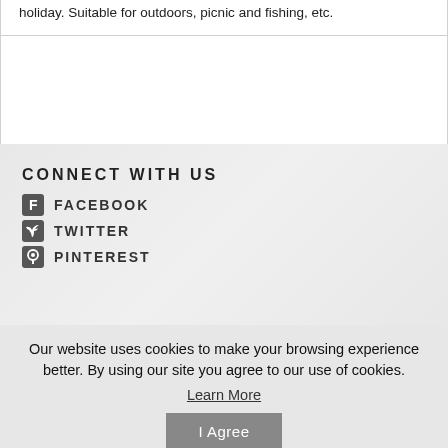holiday. Suitable for outdoors, picnic and fishing, etc.
CONNECT WITH US
FACEBOOK
TWITTER
PINTEREST
Our website uses cookies to make your browsing experience better. By using our site you agree to our use of cookies.
Learn More
I Agree